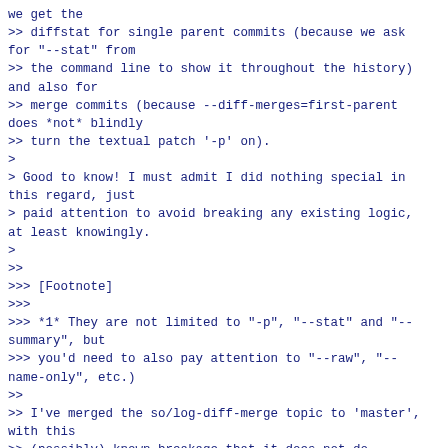we get the
>> diffstat for single parent commits (because we ask for "--stat" from
>> the command line to show it throughout the history) and also for
>> merge commits (because --diff-merges=first-parent does *not* blindly
>> turn the textual patch '-p' on).
>
> Good to know! I must admit I did nothing special in this regard, just
> paid attention to avoid breaking any existing logic, at least knowingly.
>
>>
>>> [Footnote]
>>>
>>> *1* They are not limited to "-p", "--stat" and "--summary", but
>>> you'd need to also pay attention to "--raw", "--name-only", etc.)
>>
>> I've merged the so/log-diff-merge topic to 'master', with this
>> (possibly) known breakage that it does not do anything for single
>> parent commits.  We may want to fix this last mile before the
>> release that is scheduled to happen around early June.